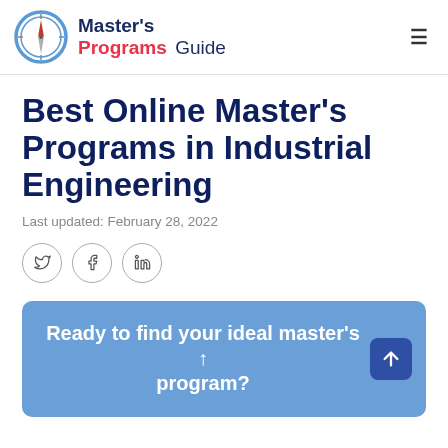Master's Programs Guide
Best Online Master's Programs in Industrial Engineering
Last updated: February 28, 2022
[Figure (infographic): Social share icons: Twitter, Facebook, LinkedIn in circular outlines]
Ready to find your ideal master's program?